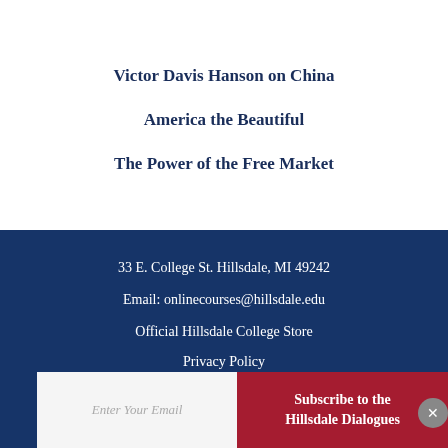Victor Davis Hanson on China
America the Beautiful
The Power of the Free Market
33 E. College St. Hillsdale, MI 49242
Email: onlinecourses@hillsdale.edu
Official Hillsdale College Store
Privacy Policy
[Figure (infographic): Social media icons row: Facebook, Twitter, Google+, LinkedIn, YouTube]
Enter Your Email
Subscribe to the Hillsdale Dialogues